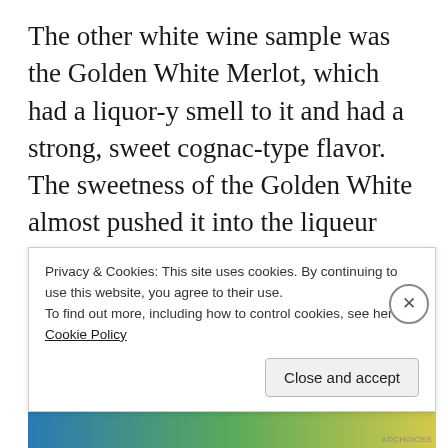The other white wine sample was the Golden White Merlot, which had a liquor-y smell to it and had a strong, sweet cognac-type flavor. The sweetness of the Golden White almost pushed it into the liqueur category and, while it's not something that I would drink a whole bottle of by myself while sitting on my living room futon with no pants while watching my ex-girlfriend's favorite romantic comedy on Netflix and using the stack of my law school rejection letters on the coffee table as a coaster,
Privacy & Cookies: This site uses cookies. By continuing to use this website, you agree to their use.
To find out more, including how to control cookies, see here: Cookie Policy